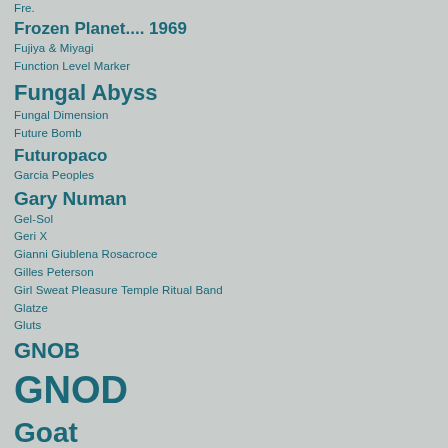Fre.
Frozen Planet.... 1969
Fujiya & Miyagi
Function Level Marker
Fungal Abyss
Fungal Dimension
Future Bomb
Futuropaco
Garcia Peoples
Gary Numan
Gel-Sol
Geri X
Gianni Giublena Rosacroce
Gilles Peterson
Girl Sweat Pleasure Temple Ritual Band
Glatze
Gluts
GNOB
GNOD
Goat
Godspeed You! Black Emperor